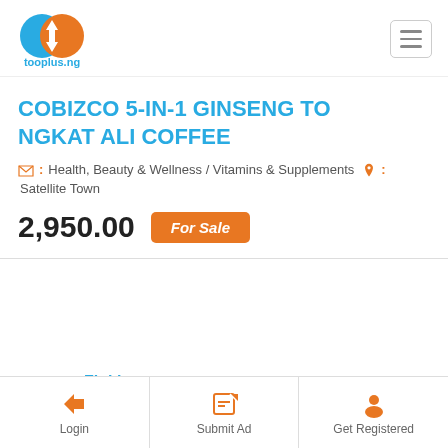[Figure (logo): tooplus.ng logo with blue and orange overlapping circles with arrows, and text 'tooplus.ng' below]
COBIZCO 5-IN-1 GINSENG TONGKAT ALI COFFEE
🗂 : Health, Beauty & Wellness / Vitamins & Supplements 📍 : Satellite Town
2,950.00 For Sale
Fioklass
Member Since June 6, 2020
See All Ads
Login | Submit Ad | Get Registered